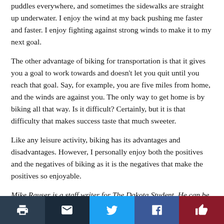puddles everywhere, and sometimes the sidewalks are straight up underwater. I enjoy the wind at my back pushing me faster and faster. I enjoy fighting against strong winds to make it to my next goal.
The other advantage of biking for transportation is that it gives you a goal to work towards and doesn't let you quit until you reach that goal. Say, for example, you are five miles from home, and the winds are against you. The only way to get home is by biking all that way. Is it difficult? Certainly, but it is that difficulty that makes success taste that much sweeter.
Like any leisure activity, biking has its advantages and disadvantages. However, I personally enjoy both the positives and the negatives of biking as it is the negatives that make the positives so enjoyable.
Mike Rauser is a staff writer for The Dakota Student. He can be reached at michael.rauser@my.und.edu.
Social share bar: print, email, twitter, facebook, like